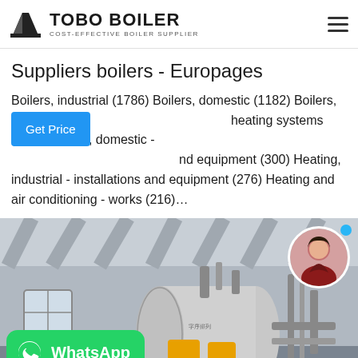[Figure (logo): TOBO BOILER logo with black geometric icon and text 'TOBO BOILER / COST-EFFECTIVE BOILER SUPPLIER']
Suppliers boilers - Europages
Boilers, industrial (1786) Boilers, domestic (1182) Boilers, cast iron heating systems (654) Heating, domestic - and equipment (300) Heating, industrial - installations and equipment (276) Heating and air conditioning - works (216)…
[Figure (photo): Industrial boiler equipment in a factory/warehouse setting. Large cylindrical boiler tanks visible with pipes and machinery. WhatsApp badge overlay in bottom-left corner, profile avatar of a woman in top-right corner.]